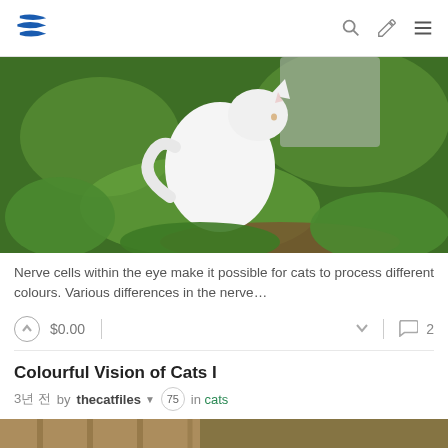Steem logo, search, edit, menu icons
[Figure (photo): White fluffy cat sitting among green garden plants and foliage]
Nerve cells within the eye make it possible for cats to process different colours. Various differences in the nerve…
$0.00 | 2 comments
Colourful Vision of Cats I
3년 전 by thecatfiles 75 in cats
[Figure (photo): Partial view of a second article's photo showing warm brown/golden tones]